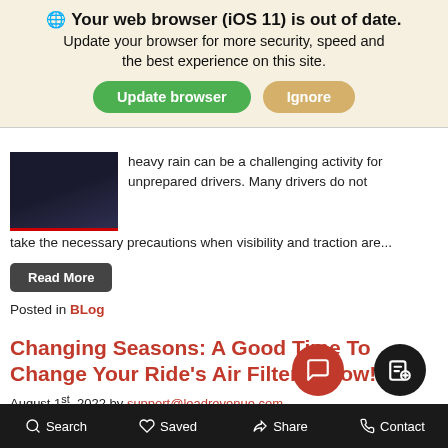Your web browser (iOS 11) is out of date. Update your browser for more security, speed and the best experience on this site.
heavy rain can be a challenging activity for unprepared drivers. Many drivers do not take the necessary precautions when visibility and traction are...
Read More
Posted in BLog
Changing Seasons: A Good Time To Change Your Ride’s Air Filter Is now!
August 1st, 2022 by support@leadrevenue.com
[Figure (illustration): Red banner image showing text CHANGING SEASONS A GOOD TIME TO CHANGE]
The leaves are starting to gree...
Search  Saved  Share  Contact